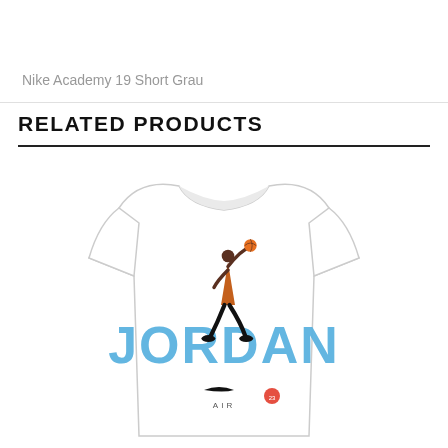Nike Academy 19 Short Grau
RELATED PRODUCTS
[Figure (photo): White Jordan brand t-shirt featuring the Air Jordan Jumpman logo graphic with 'JORDAN' text in blue and an orange basketball, with Nike Air branding at the bottom.]